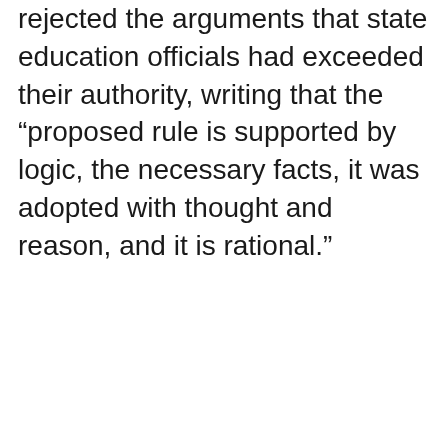rejected the arguments that state education officials had exceeded their authority, writing that the “proposed rule is supported by logic, the necessary facts, it was adopted with thought and reason, and it is rational.”